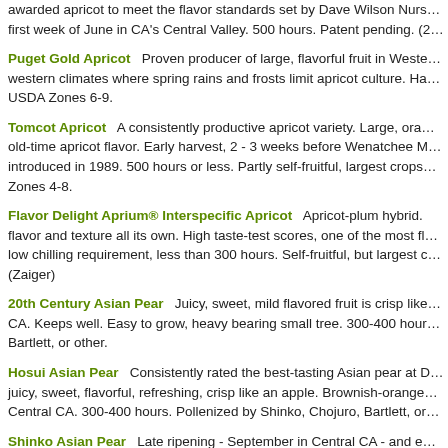awarded apricot to meet the flavor standards set by Dave Wilson Nursery. Ripens first week of June in CA's Central Valley. 500 hours. Patent pending. (2...
Puget Gold Apricot   Proven producer of large, flavorful fruit in Western climates where spring rains and frosts limit apricot culture. Hardy in USDA Zones 6-9.
Tomcot Apricot   A consistently productive apricot variety. Large, orange, old-time apricot flavor. Early harvest, 2 - 3 weeks before Wenatchee Moorpark, introduced in 1989. 500 hours or less. Partly self-fruitful, largest crops... Zones 4-8.
Flavor Delight Aprium® Interspecific Apricot   Apricot-plum hybrid. flavor and texture all its own. High taste-test scores, one of the most fl... low chilling requirement, less than 300 hours. Self-fruitful, but largest c... (Zaiger)
20th Century Asian Pear   Juicy, sweet, mild flavored fruit is crisp like... CA. Keeps well. Easy to grow, heavy bearing small tree. 300-400 hou... Bartlett, or other.
Hosui Asian Pear   Consistently rated the best-tasting Asian pear at D... juicy, sweet, flavorful, refreshing, crisp like an apple. Brownish-orange... Central CA. 300-400 hours. Pollenized by Shinko, Chojuro, Bartlett, or...
Shinko Asian Pear   Late ripening - September in Central CA - and e... refreshing, crisp like an apple. Golden brown russeted skin. 450 hours... Bartlett
Shinseiki Asian Pear   Juicy, sweet, refreshing, crisp like an apple. E... July/early August in Central CA. Bright yellow skin. Vigorous, heavy be... Self-fruitful.